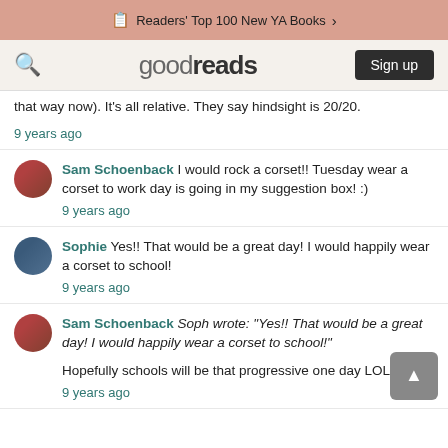Readers' Top 100 New YA Books >
goodreads  Sign up
that way now). It's all relative. They say hindsight is 20/20.
9 years ago
Sam Schoenback I would rock a corset!! Tuesday wear a corset to work day is going in my suggestion box! :)
9 years ago
Sophie Yes!! That would be a great day! I would happily wear a corset to school!
9 years ago
Sam Schoenback Soph wrote: "Yes!! That would be a great day! I would happily wear a corset to school!"

Hopefully schools will be that progressive one day LOL!
9 years ago